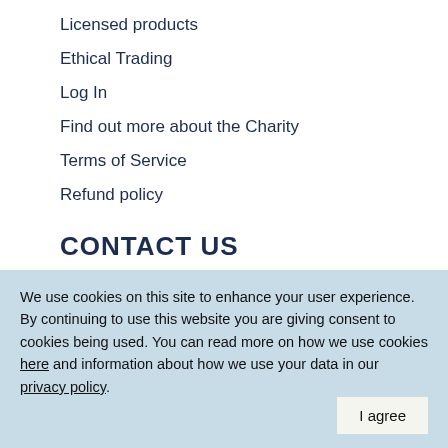Licensed products
Ethical Trading
Log In
Find out more about the Charity
Terms of Service
Refund policy
CONTACT US
01725 514144 · shop@helpforheroes.org.uk
[Figure (infographic): Social media icons: Twitter, Facebook, Instagram, YouTube, LinkedIn]
We use cookies on this site to enhance your user experience. By continuing to use this website you are giving consent to cookies being used. You can read more on how we use cookies here and information about how we use your data in our privacy policy.